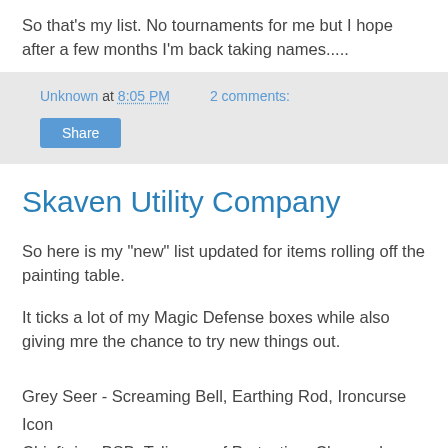So that's my list. No tournaments for me but I hope after a few months I'm back taking names.....
Unknown at 8:05 PM    2 comments:
Share
Skaven Utility Company
So here is my "new" list updated for items rolling off the painting table.
It ticks a lot of my Magic Defense boxes while also giving mre the chance to try new things out.
Grey Seer - Screaming Bell, Earthing Rod, Ironcurse Icon
Chieftain - BSB, Talisman of Protection, Charmed Shield